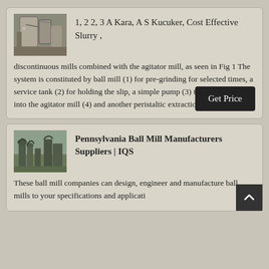[Figure (photo): Industrial mill or reactor vessel with pipes and scaffolding]
1, 2 2, 3 A Kara, A S Kucuker, Cost Effective Slurry ,
discontinuous mills combined with the agitator mill, as seen in Fig 1 The system is constituted by ball mill (1) for pre-grinding for selected times, a service tank (2) for holding the slip, a simple pump (3) to feed the slip into the agitator mill (4) and another peristaltic extraction pump (5) to ,
[Figure (photo): Industrial facility with large pipes and equipment, Pennsylvania ball mill manufacturer]
Pennsylvania Ball Mill Manufacturers Suppliers | IQS
These ball mill companies can design, engineer and manufacture ball mills to your specifications and applicati...